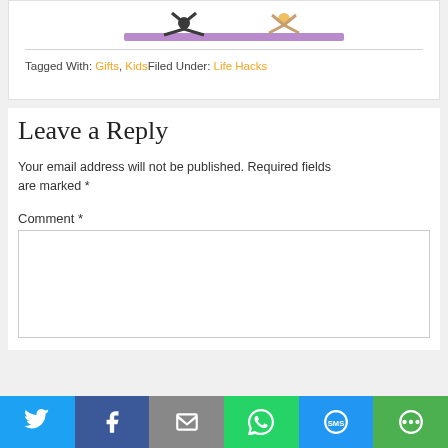[Figure (photo): Partial yoga/exercise image showing two people on a purple mat, cropped at top]
Tagged With: Gifts, KidsFiled Under: Life Hacks
Leave a Reply
Your email address will not be published. Required fields are marked *
Comment *
[Figure (other): Comment text area input box]
[Figure (other): Social sharing bar with Twitter, Facebook, Email, WhatsApp, SMS, and More buttons]